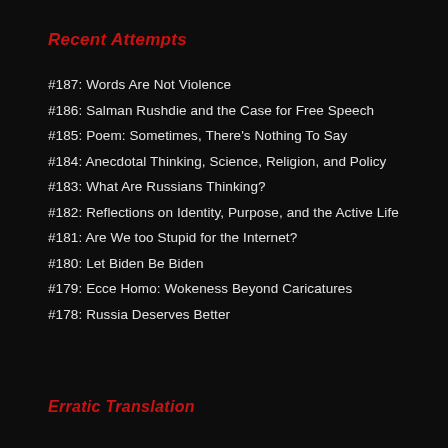Recent Attempts
#187: Words Are Not Violence
#186: Salman Rushdie and the Case for Free Speech
#185: Poem: Sometimes, There's Nothing To Say
#184: Anecdotal Thinking, Science, Religion, and Policy
#183: What Are Russians Thinking?
#182: Reflections on Identity, Purpose, and the Active Life
#181: Are We too Stupid for the Internet?
#180: Let Biden Be Biden
#179: Ecce Homo: Wokeness Beyond Caricatures
#178: Russia Deserves Better
Erratic Translation